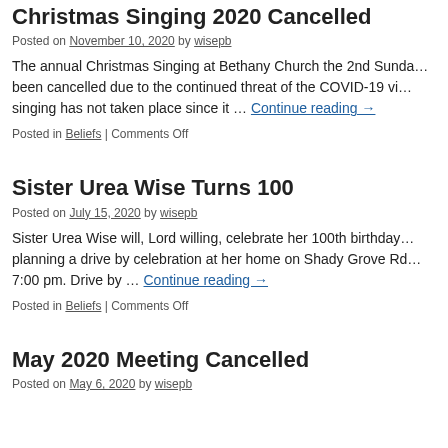Christmas Singing 2020 Cancelled
Posted on November 10, 2020 by wisepb
The annual Christmas Singing at Bethany Church the 2nd Sunda… been cancelled due to the continued threat of the COVID-19 vi… singing has not taken place since it … Continue reading →
Posted in Beliefs | Comments Off
Sister Urea Wise Turns 100
Posted on July 15, 2020 by wisepb
Sister Urea Wise will, Lord willing, celebrate her 100th birthday… planning a drive by celebration at her home on Shady Grove Rd… 7:00 pm. Drive by … Continue reading →
Posted in Beliefs | Comments Off
May 2020 Meeting Cancelled
Posted on May 6, 2020 by wisepb